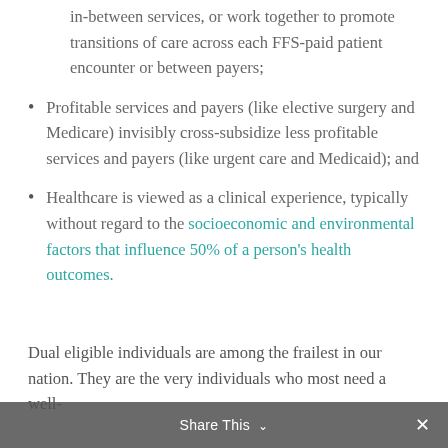in-between services, or work together to promote transitions of care across each FFS-paid patient encounter or between payers;
Profitable services and payers (like elective surgery and Medicare) invisibly cross-subsidize less profitable services and payers (like urgent care and Medicaid); and
Healthcare is viewed as a clinical experience, typically without regard to the socioeconomic and environmental factors that influence 50% of a person’s health outcomes.
Dual eligible individuals are among the frailest in our nation. They are the very individuals who most need a well-
Share This